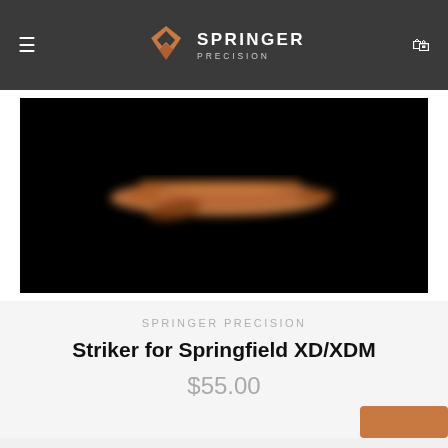Springer Precision — navigation header with hamburger menu, logo, and cart icon
[Figure (photo): Product photo of a striker firearm part on black background, slightly blurred]
SPRINGER PRECISION
Striker for Springfield XD/XDM
$55.00